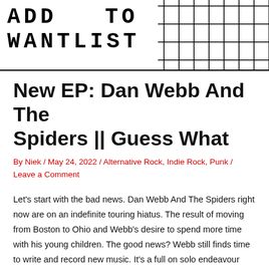ADD TO WANTLIST
New EP: Dan Webb And The Spiders || Guess What
By Niek / May 24, 2022 / Alternative Rock, Indie Rock, Punk / Leave a Comment
Let's start with the bad news. Dan Webb And The Spiders right now are on an indefinite touring hiatus. The result of moving from Boston to Ohio and Webb's desire to spend more time with his young children. The good news? Webb still finds time to write and record new music. It's a full on solo endeavour with Webb playing all the instruments. The best news? Webb still writes kickass songs. The songs on his latest EP Guess What – the title